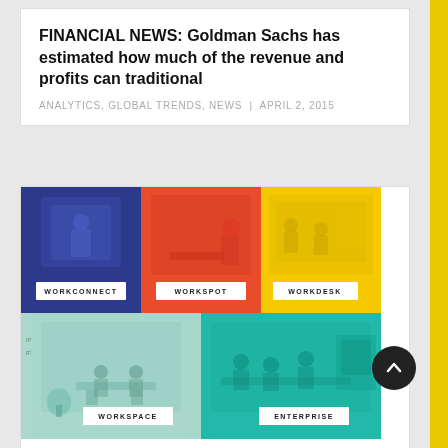FINANCIAL NEWS: Goldman Sachs has estimated how much of the revenue and profits can traditional
ANALYTICS, GLOBAL TRENDS, NEWS | APRIL 2, 2015
[Figure (illustration): Colorful grid of five workspace product illustrations: WORKCONNECT (blue background), WORKSPOT (red/orange background), WORKDESK (yellow background), WORKSPACE (light teal background), ENTERPRISE (teal/green background). Each panel has an illustration of an office/workspace scene with a labeled button overlay.]
ONE OF SINGAPORE'S SEXIEST CO-WORKING SPACES HAS OPENED ITS